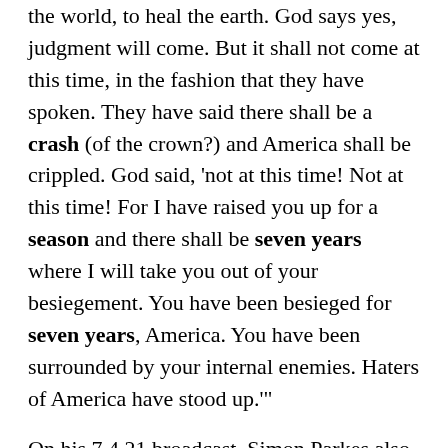the world, to heal the earth. God says yes, judgment will come. But it shall not come at this time, in the fashion that they have spoken. They have said there shall be a crash (of the crown?) and America shall be crippled. God said, 'not at this time! Not at this time! For I have raised you up for a season and there shall be seven years where I will take you out of your besiegement. You have been besieged for seven years, America. You have been surrounded by your internal enemies. Haters of America have stood up.'
On his 7.4.21 broadcast, Simon Parkes also